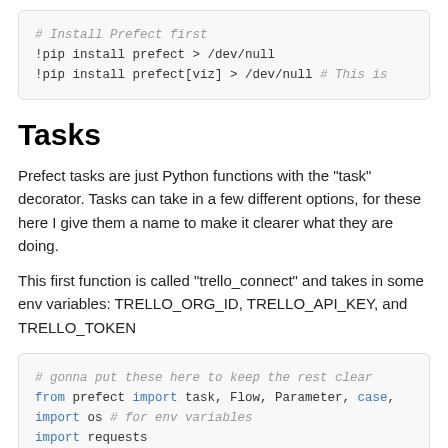[Figure (other): Code block showing pip install commands: # Install Prefect first, !pip install prefect &> /dev/null, !pip install prefect[viz] &> /dev/null # This is]
Tasks
Prefect tasks are just Python functions with the "task" decorator. Tasks can take in a few different options, for these here I give them a name to make it clearer what they are doing.
This first function is called "trello_connect" and takes in some env variables: TRELLO_ORG_ID, TRELLO_API_KEY, and TRELLO_TOKEN
[Figure (other): Code block: # gonna put these here to keep the rest clear, from prefect import task, Flow, Parameter, case, import os # for env variables, import requests, import json]